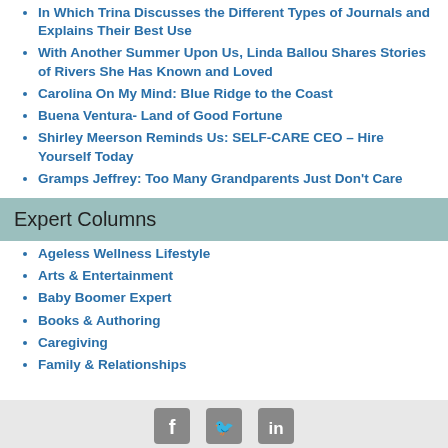In Which Trina Discusses the Different Types of Journals and Explains Their Best Use
With Another Summer Upon Us, Linda Ballou Shares Stories of Rivers She Has Known and Loved
Carolina On My Mind: Blue Ridge to the Coast
Buena Ventura- Land of Good Fortune
Shirley Meerson Reminds Us: SELF-CARE CEO – Hire Yourself Today
Gramps Jeffrey: Too Many Grandparents Just Don't Care
Expert Columns
Ageless Wellness Lifestyle
Arts & Entertainment
Baby Boomer Expert
Books & Authoring
Caregiving
Family & Relationships